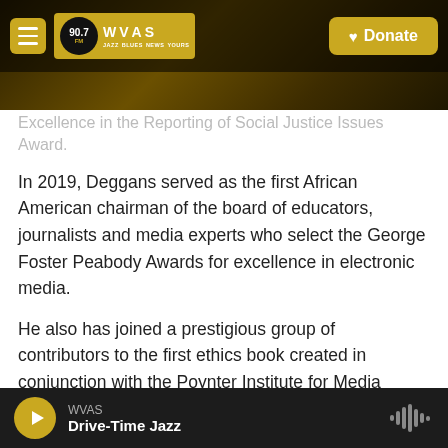[Figure (screenshot): WVAS 90.7 FM radio station website header with logo, hamburger menu, and Donate button on dark background]
Excellence in the Reporting of Social Justice Issues Award.
In 2019, Deggans served as the first African American chairman of the board of educators, journalists and media experts who select the George Foster Peabody Awards for excellence in electronic media.
He also has joined a prestigious group of contributors to the first ethics book created in conjunction with the Poynter Institute for Media Studies for journalism's digital age: The New Ethics of Journalism, published in August 2013, by Sage/CQ Press.
From 2004 to 2005, Deggans sat on the then-St.
WVAS Drive-Time Jazz